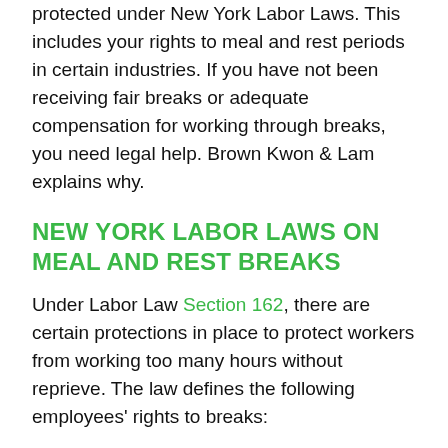protected under New York Labor Laws. This includes your rights to meal and rest periods in certain industries. If you have not been receiving fair breaks or adequate compensation for working through breaks, you need legal help. Brown Kwon & Lam explains why.
NEW YORK LABOR LAWS ON MEAL AND REST BREAKS
Under Labor Law Section 162, there are certain protections in place to protect workers from working too many hours without reprieve. The law defines the following employees' rights to breaks:
Factory Workers are entitled to a 60-minute lunch break between 11 a.m. and 2 p.m. For shifts starting between 1 p.m. and 6 a.m.,